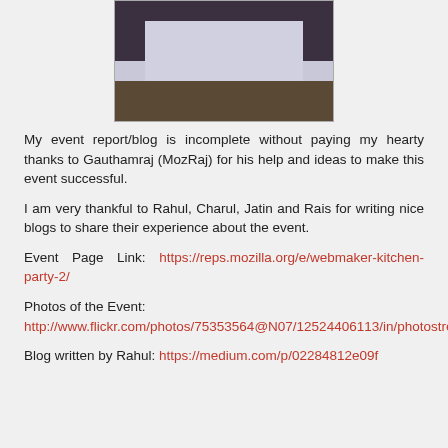[Figure (photo): A person holding a large white board/paper outdoors, partial view showing dark clothing and lower body.]
My event report/blog is incomplete without paying my hearty thanks to Gauthamraj (MozRaj) for his help and ideas to make this event successful.
I am very thankful to Rahul, Charul, Jatin and Rais for writing nice blogs to share their experience about the event.
Event Page Link: https://reps.mozilla.org/e/webmaker-kitchen-party-2/
Photos of the Event: http://www.flickr.com/photos/75353564@N07/12524406113/in/photostream/
Blog written by Rahul: https://medium.com/p/02284812e09f...